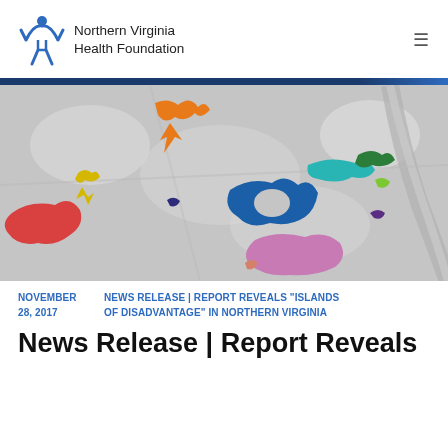[Figure (logo): Northern Virginia Health Foundation logo with blue figure icon and text]
[Figure (map): Colorful map of Northern Virginia showing colored regions representing islands of disadvantage on a grayscale satellite map background. Colors include orange, yellow, red, dark blue, teal, green, purple, lavender highlighting different geographic areas.]
NOVEMBER 28, 2017
NEWS RELEASE | REPORT REVEALS "ISLANDS OF DISADVANTAGE" IN NORTHERN VIRGINIA
News Release | Report Reveals